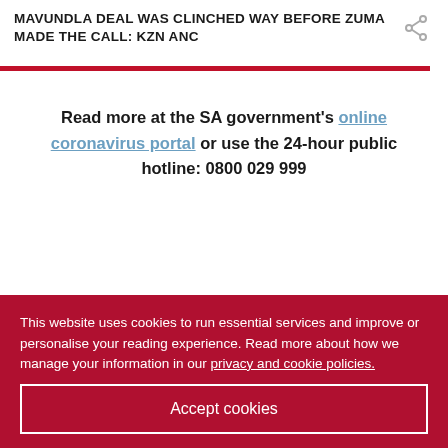MAVUNDLA DEAL WAS CLINCHED WAY BEFORE ZUMA MADE THE CALL: KZN ANC
Read more at the SA government's online coronavirus portal or use the 24-hour public hotline: 0800 029 999
MAIN MENU
Past Editions
This website uses cookies to run essential services and improve or personalise your reading experience. Read more about how we manage your information in our privacy and cookie policies.
Accept cookies